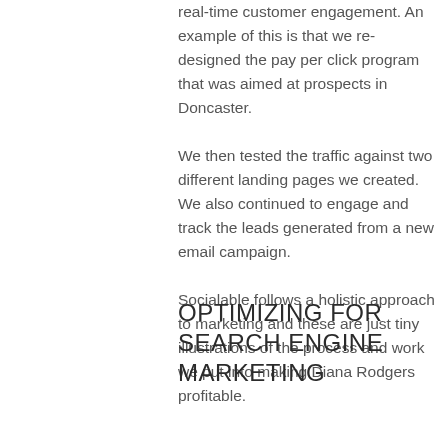real-time customer engagement. An example of this is that we re-designed the pay per click program that was aimed at prospects in Doncaster. We then tested the traffic against two different landing pages we created. We also continued to engage and track the leads generated from a new email campaign. Socialable follows a holistic approach to marketing and these are just tiny illustrations of the process and work we put into making Diana Rodgers profitable.
OPTIMIZING FOR SEARCH ENGINE MARKETING